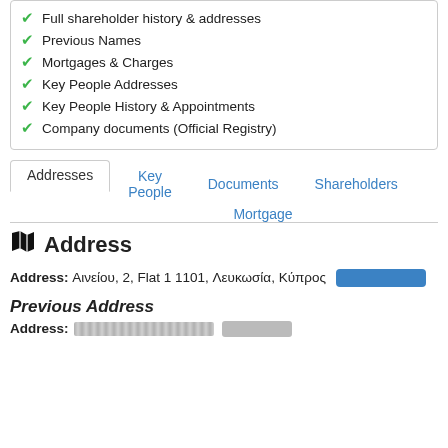Full shareholder history & addresses
Previous Names
Mortgages & Charges
Key People Addresses
Key People History & Appointments
Company documents (Official Registry)
Addresses | Key People | Documents | Shareholders | Mortgage
Address
Address: Αινείου, 2, Flat 1 1101, Λευκωσία, Κύπρος
Previous Address
Address: [redacted]